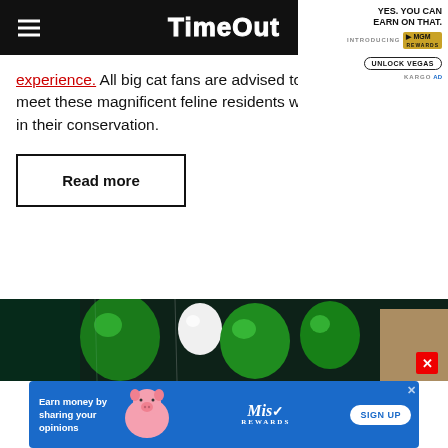TimeOut
experience. All big cat fans are advised to come and meet these magnificent feline residents while also helping in their conservation.
Read more
[Figure (photo): Photo strip showing green and white balloons against a dark green background]
[Figure (infographic): Bottom advertisement: Earn money by sharing your opinions - Miso Rewards - SIGN UP button]
[Figure (infographic): Top-right corner advertisement: YES. YOU CAN EARN ON THAT. MGM Rewards - UNLOCK VEGAS - KARGO AD]